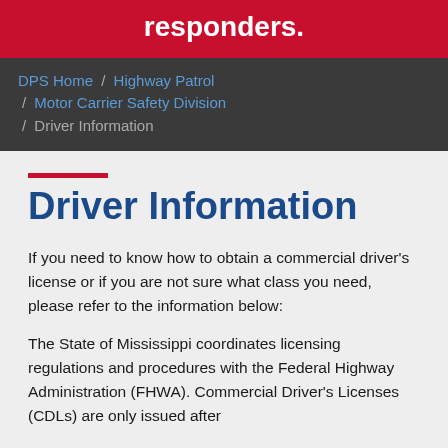responders.
DPS Home / Highway Patrol / Motor Carrier Safety Division / Driver Information
Driver Information
If you need to know how to obtain a commercial driver's license or if you are not sure what class you need, please refer to the information below:
The State of Mississippi coordinates licensing regulations and procedures with the Federal Highway Administration (FHWA). Commercial Driver's Licenses (CDLs) are only issued after